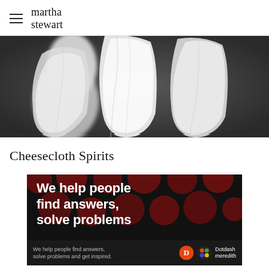martha stewart
[Figure (photo): Ghost-like white cheesecloth draped figures against a dark grey background, resembling spirits or ethereal forms]
Cheesecloth Spirits
[Figure (infographic): Advertisement banner with black background and dark red polka dots showing bold white text reading 'We help people find answers, solve problems' with a Dotdash Meredith branded bar at the bottom]